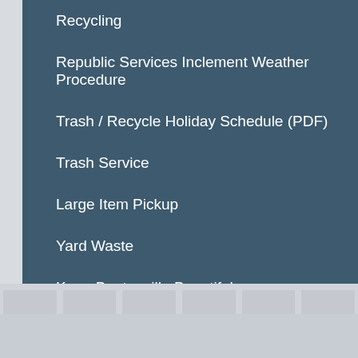Recycling
Republic Services Inclement Weather Procedure
Trash / Recycle Holiday Schedule (PDF)
Trash Service
Large Item Pickup
Yard Waste
Keep Bentonville Beautiful